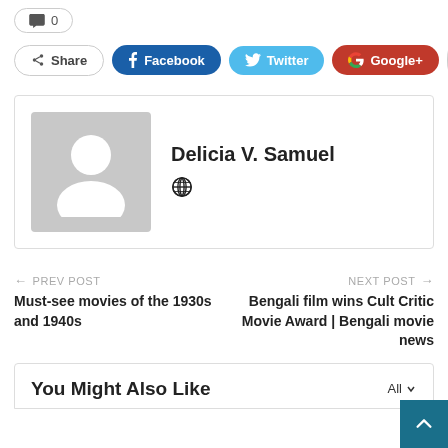💬 0
Share  Facebook  Twitter  Google+  +
[Figure (other): Author profile card with placeholder avatar (grey silhouette), author name Delicia V. Samuel, and a globe icon]
← PREV POST
Must-see movies of the 1930s and 1940s
NEXT POST →
Bengali film wins Cult Critic Movie Award | Bengali movie news
You Might Also Like
All